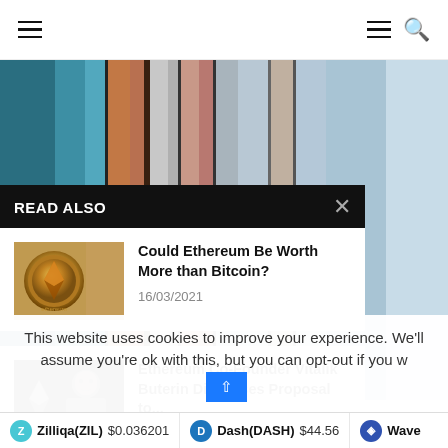≡  ≡ 🔍
[Figure (photo): Abstract colorful vertical stripes background in teal, copper, grey and light blue tones]
READ ALSO
[Figure (photo): Ethereum coin gold thumbnail]
Could Ethereum Be Worth More than Bitcoin?
16/03/2021
[Figure (photo): Vitalik Buterin with Ethereum diamond logo]
Ethereum Co-Founder Vitalik Buterin Discusses Proposal to...
07/02/2022
This website uses cookies to improve your experience. We'll assume you're ok with this, but you can opt-out if you w
Zilliqa(ZIL) $0.036201   Dash(DASH) $44.56   Wave